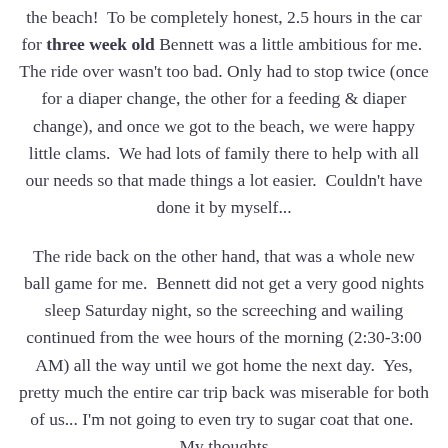the beach!  To be completely honest, 2.5 hours in the car for three week old Bennett was a little ambitious for me.  The ride over wasn't too bad. Only had to stop twice (once for a diaper change, the other for a feeding & diaper change), and once we got to the beach, we were happy little clams.  We had lots of family there to help with all our needs so that made things a lot easier.  Couldn't have done it by myself...
The ride back on the other hand, that was a whole new ball game for me.  Bennett did not get a very good nights sleep Saturday night, so the screeching and wailing continued from the wee hours of the morning (2:30-3:00 AM) all the way until we got home the next day.  Yes, pretty much the entire car trip back was miserable for both of us... I'm not going to even try to sugar coat that one.  My thoughts